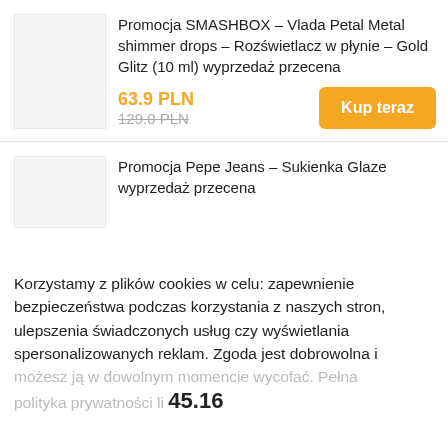Promocja SMASHBOX – Vlada Petal Metal shimmer drops – Rozświetlacz w płynie – Gold Glitz (10 ml) wyprzedaż przecena
63.9 PLN 129.0 PLN
Kup teraz
Promocja Pepe Jeans – Sukienka Glaze wyprzedaż przecena
Korzystamy z plików cookies w celu: zapewnienie bezpieczeństwa podczas korzystania z naszych stron, ulepszenia świadczonych usług czy wyświetlania spersonalizowanych reklam. Zgoda jest dobrowolna i możesz ją w dowolnym momencie wycofać. Pełna polityka prywatności li
45.16
Ustawienia cookies
KUP TERAZ